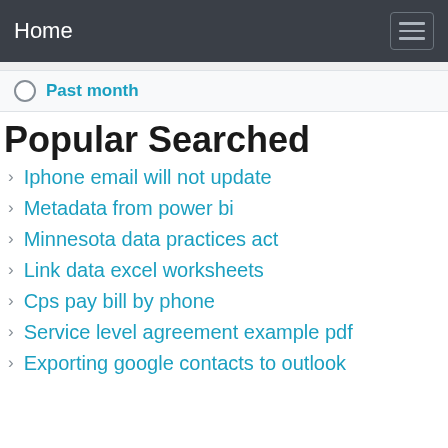Home
Past month
Popular Searched
Iphone email will not update
Metadata from power bi
Minnesota data practices act
Link data excel worksheets
Cps pay bill by phone
Service level agreement example pdf
Exporting google contacts to outlook